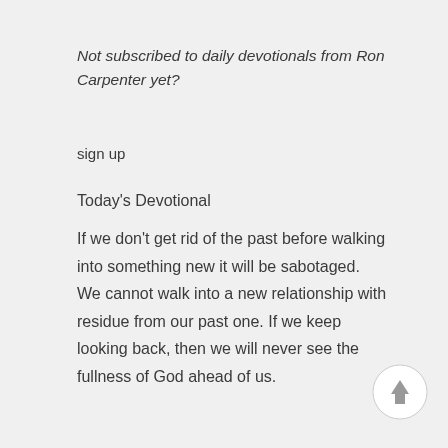Not subscribed to daily devotionals from Ron Carpenter yet?
sign up
Today's Devotional
If we don't get rid of the past before walking into something new it will be sabotaged. We cannot walk into a new relationship with residue from our past one. If we keep looking back, then we will never see the fullness of God ahead of us.